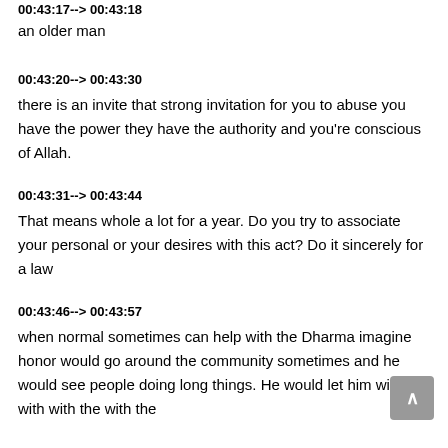00:43:17--> 00:43:18
an older man
00:43:20--> 00:43:30
there is an invite that strong invitation for you to abuse you have the power they have the authority and you're conscious of Allah.
00:43:31--> 00:43:44
That means whole a lot for a year. Do you try to associate your personal or your desires with this act? Do it sincerely for a law
00:43:46--> 00:43:57
when normal sometimes can help with the Dharma imagine honor would go around the community sometimes and he would see people doing long things. He would let him with the with with the with the